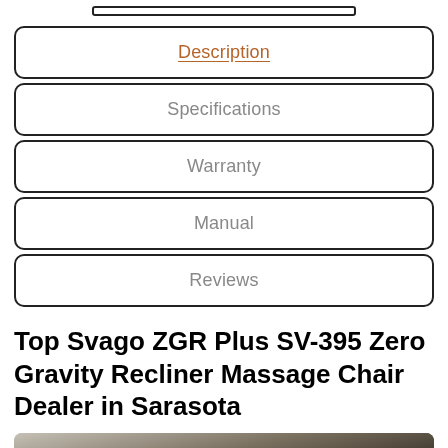[Figure (other): Top navigation/tab bar partial element]
Description
Specifications
Warranty
Manual
Reviews
Top Svago ZGR Plus SV-395 Zero Gravity Recliner Massage Chair Dealer in Sarasota
[Figure (screenshot): Video thumbnail for Svago ZGR Plus Operation Video (SV-...) with cozzio logo and dark background showing massage chair]